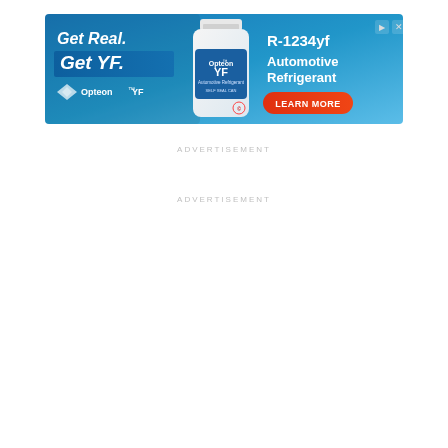[Figure (illustration): Opteon YF automotive refrigerant advertisement banner. Blue gradient background. Left side shows 'Get Real.' in white italic text and 'Get YF.' in white bold italic text on a darker blue box, with Opteon YF logo below. Center shows a white can of Opteon YF Automotive Refrigerant (Self Seal Can). Right side shows 'R-1234yf Automotive Refrigerant' in white bold text and a red 'LEARN MORE' button. Top right has small ad navigation icons.]
ADVERTISEMENT
ADVERTISEMENT